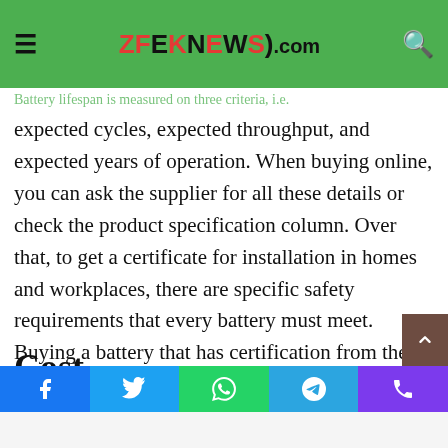ZFEKNEWS.com
Lifespan and Safety Rating
Battery lifespan is measured on three criteria, i.e. expected cycles, expected throughput, and expected years of operation. When buying online, you can ask the supplier for all these details or check the product specification column. Over that, to get a certificate for installation in homes and workplaces, there are specific safety requirements that every battery must meet. Buying a battery that has certification from the battery chemistries is advisable. If you have purchased a non-certified battery, it comes with a risk of fire or acid spill.
Cost
One of the factors is also how much the solar power system installation will cost. Good quality solar panels and